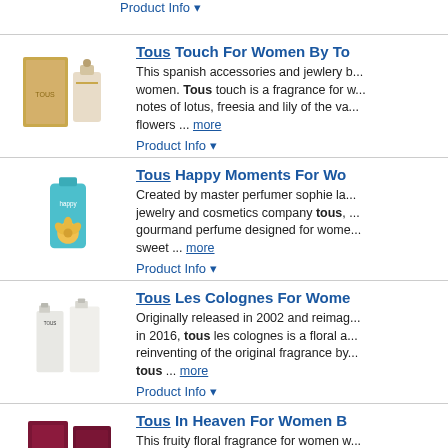[Figure (photo): Partial product image at top of page (cropped)]
Product Info ▾
[Figure (photo): Tous Touch perfume bottle with gold box]
Tous Touch For Women By To...
This spanish accessories and jewlery b... women. Tous touch is a fragrance for w... notes of lotus, freesia and lily of the va... flowers ... more
Product Info ▾
[Figure (photo): Tous Happy Moments teal bottle with flower]
Tous Happy Moments For Wo...
Created by master perfumer sophie la... jewelry and cosmetics company tous,... gourmand perfume designed for wome... sweet ... more
Product Info ▾
[Figure (photo): Tous Les Colognes white bottles]
Tous Les Colognes For Wome...
Originally released in 2002 and reimag... in 2016, tous les colognes is a floral a... reinventing of the original fragrance by... tous ... more
Product Info ▾
[Figure (photo): Tous In Heaven dark pink/burgundy box]
Tous In Heaven For Women B...
This fruity floral fragrance for women w... Top notes are pineapple, apple, red be... floral bouquet of freesia, peony, lilac a... more